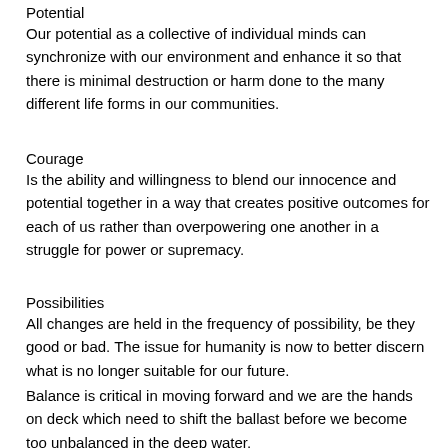Potential
Our potential as a collective of individual minds can synchronize with our environment and enhance it so that there is minimal destruction or harm done to the many different life forms in our communities.
Courage
Is the ability and willingness to blend our innocence and potential together in a way that creates positive outcomes for each of us rather than overpowering one another in a struggle for power or supremacy.
Possibilities
All changes are held in the frequency of possibility, be they good or bad. The issue for humanity is now to better discern what is no longer suitable for our future.
Balance is critical in moving forward and we are the hands on deck which need to shift the ballast before we become too unbalanced in the deep water.